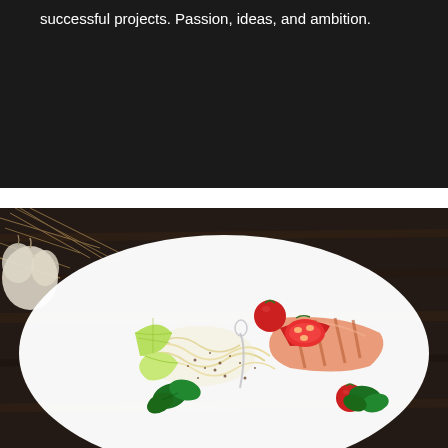successful projects. Passion, ideas, and ambition.
[Figure (photo): A gourmet dish served in a white round plate. The dish features pasta noodles, sliced salmon or fish, cherry tomatoes (one halved showing the red interior), lime or lemon wedges, fresh basil leaves, and various seeds/spices sprinkled over. A fork or spoon is partially visible. The plate sits on a dark wooden surface with some straw/twigs and garlic visible in the background.]